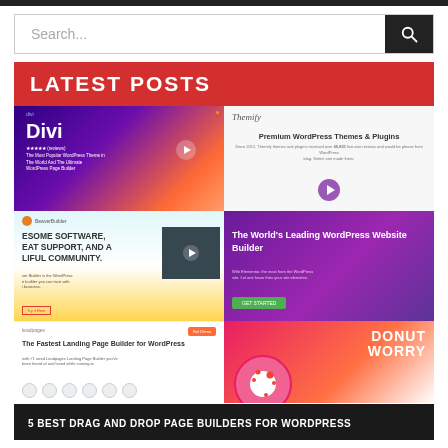[Figure (screenshot): Search bar with dark search button icon on right]
[Figure (screenshot): Red banner with LATEST POSTS text in white uppercase letters]
[Figure (screenshot): Grid of 6 website screenshots: Divi, Themify, BeaverBuilder, Elementor, LeadPages, Donut Worry]
5 BEST DRAG AND DROP PAGE BUILDERS FOR WORDPRESS